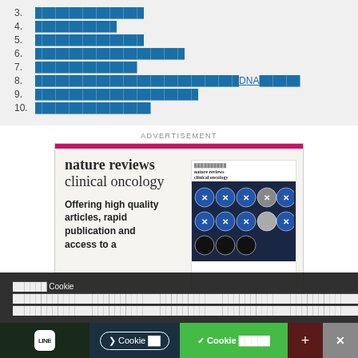3. ████████████████
4. ████████████
5. ████████████████
6. ██████████████████████
7. ███████████████
8. ████████████████████████████DNA██████
9. ████████████████████████
10. █████████████████
ADVERTISEMENT
[Figure (illustration): Nature Reviews Clinical Oncology journal advertisement showing journal cover with medical imaging content and text: Offering high quality articles, rapid publication and access to a...]
██████ Cookie ████████████████████████████████████████████████████████████████████████████████████████████████████████████████████████████████████████████████████